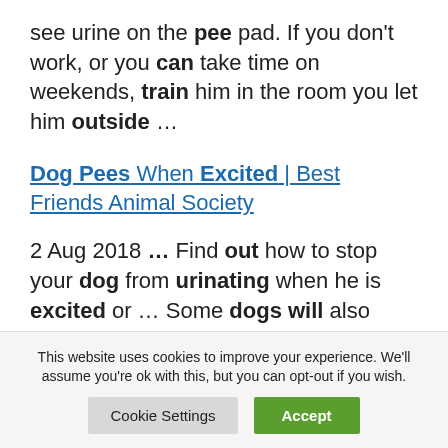see urine on the pee pad. If you don't work, or you can take time on weekends, train him in the room you let him outside …
Dog Pees When Excited | Best Friends Animal Society
2 Aug 2018 … Find out how to stop your dog from urinating when he is excited or … Some dogs will also urinate when they feel anxious or
This website uses cookies to improve your experience. We'll assume you're ok with this, but you can opt-out if you wish.